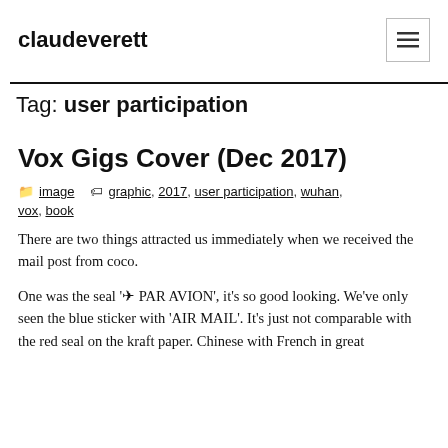claudeverett
Tag: user participation
Vox Gigs Cover (Dec 2017)
image  graphic, 2017, user participation, wuhan, vox, book
There are two things attracted us immediately when we received the mail post from coco.
One was the seal 'â2 PAR AVION', it's so good looking. We've only seen the blue sticker with 'AIR MAIL'. It's just not comparable with the red seal on the kraft paper. Chinese with French in great